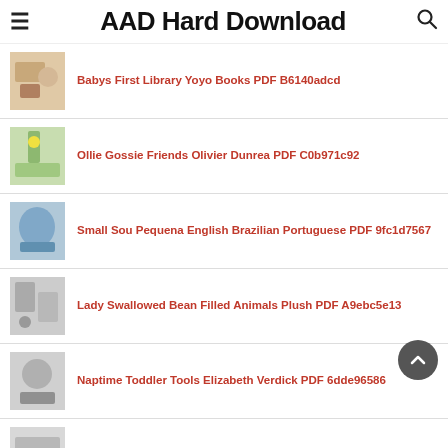AAD Hard Download
Babys First Library Yoyo Books PDF B6140adcd
Ollie Gossie Friends Olivier Dunrea PDF C0b971c92
Small Sou Pequena English Brazilian Portuguese PDF 9fc1d7567
Lady Swallowed Bean Filled Animals Plush PDF A9ebc5e13
Naptime Toddler Tools Elizabeth Verdick PDF 6dde96586
Peanuts Busy Book Phidal Publishing PDF 128159a3c